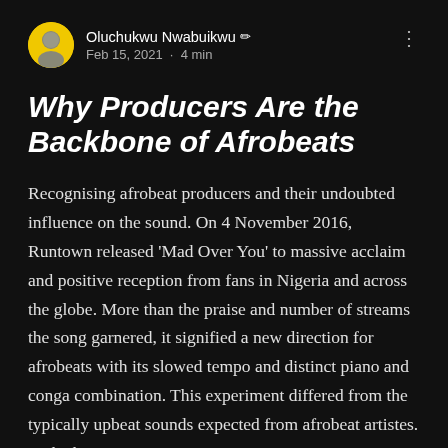Oluchukwu Nwabuikwu · Feb 15, 2021 · 4 min
Why Producers Are the Backbone of Afrobeats
Recognising afrobeat producers and their undoubted influence on the sound. On 4 November 2016, Runtown released 'Mad Over You' to massive acclaim and positive reception from fans in Nigeria and across the globe. More than the praise and number of streams the song garnered, it signified a new direction for afrobeats with its slowed tempo and distinct piano and conga combination. This experiment differed from the typically upbeat sounds expected from afrobeat artistes. In the h